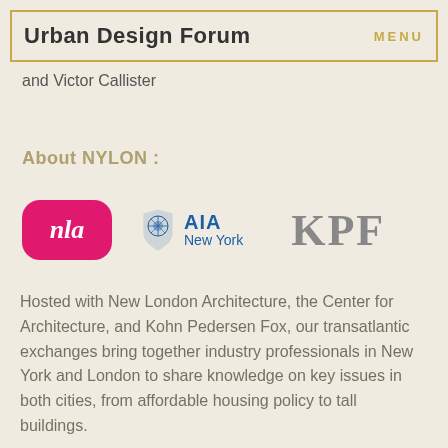Urban Design Forum    MENU
and Victor Callister
About NYLON :
[Figure (logo): Three logos: NLA (New London Architecture, pink rounded rectangle with cursive nla), AIA New York (blue emblem with text), KPF (large gray serif letters)]
Hosted with New London Architecture, the Center for Architecture, and Kohn Pedersen Fox, our transatlantic exchanges bring together industry professionals in New York and London to share knowledge on key issues in both cities, from affordable housing policy to tall buildings.